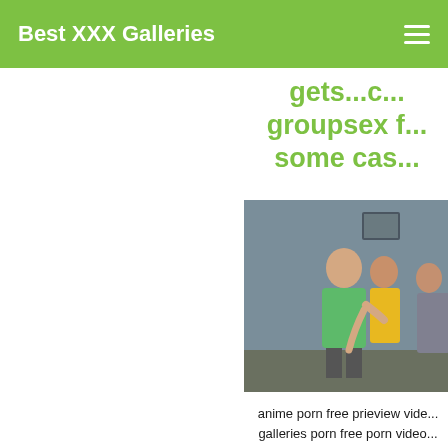Best XXX Galleries
gets...c... groupsex f... some cas...
[Figure (photo): A man in a green t-shirt kissing a woman in a yellow outfit while another woman in a sparkly outfit stands nearby, in a room with a gray wall and framed picture.]
anime porn free prieview vide... galleries porn free porn video... watch porn couple eating o... other asiat porn video free l... clips innocent young porn...